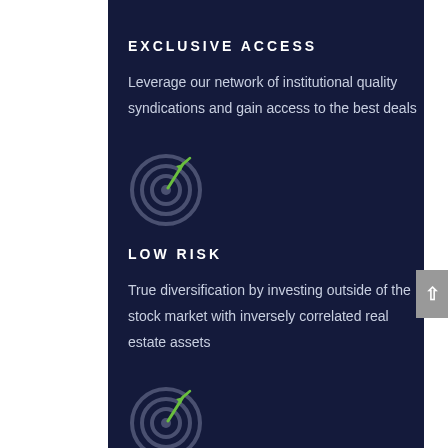EXCLUSIVE ACCESS
Leverage our network of institutional quality syndications and gain access to the best deals
[Figure (illustration): Target/bullseye icon with a green arrow hitting the center, rendered in grey tones on dark navy background]
LOW RISK
True diversification by investing outside of the stock market with inversely correlated real estate assets
[Figure (illustration): Target/bullseye icon with a green arrow hitting the center, rendered in grey tones on dark navy background]